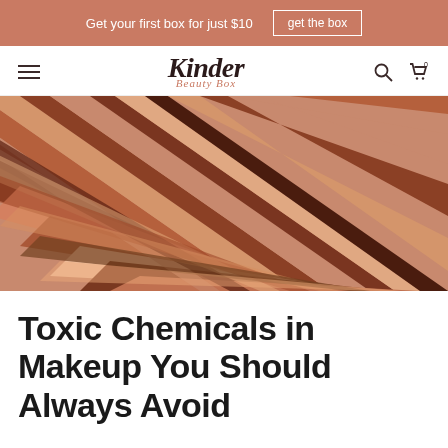Get your first box for just $10  |  get the box
[Figure (logo): Kinder Beauty Box logo with hamburger menu, search icon, and cart icon in navigation bar]
[Figure (photo): Close-up diagonal stripes of various makeup foundation shades ranging from light peach to deep brown]
Toxic Chemicals in Makeup You Should Always Avoid